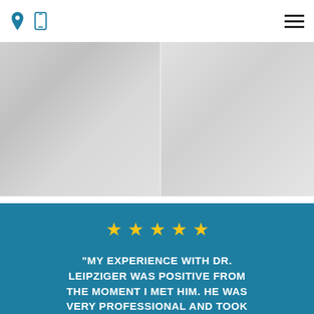Navigation header with location pin icon, mobile phone icon, and hamburger menu
[Figure (photo): Two side-by-side images, likely showing a medical practice or doctor, rendered in light gray tones]
[Figure (infographic): Five gold/yellow star rating icons displayed in a row on a blue background, followed by a patient review quote]
“MY EXPERIENCE WITH DR. LEIPZIGER WAS POSITIVE FROM THE MOMENT I MET HIM. HE WAS VERY PROFESSIONAL AND TOOK